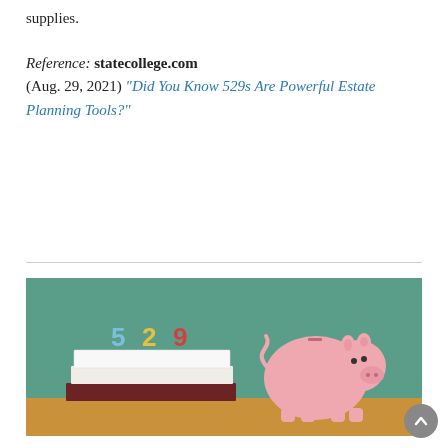supplies.
Reference: statecollege.com (Aug. 29, 2021) “Did You Know 529s Are Powerful Estate Planning Tools?”
[Figure (photo): Photo of a stack of books with colorful '529' letters on top and a pink piggy bank beside them, against a green chalkboard background on a wooden surface.]